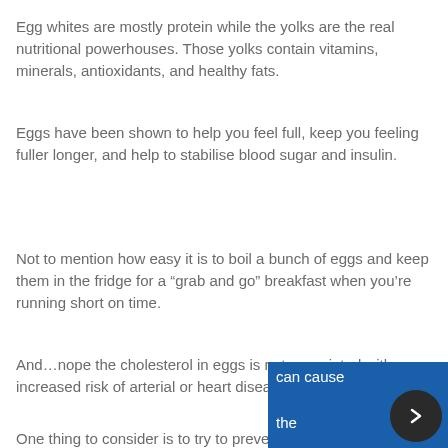Egg whites are mostly protein while the yolks are the real nutritional powerhouses. Those yolks contain vitamins, minerals, antioxidants, and healthy fats.
Eggs have been shown to help you feel full, keep you feeling fuller longer, and help to stabilise blood sugar and insulin.
Not to mention how easy it is to boil a bunch of eggs and keep them in the fridge for a “grab and go” breakfast when you’re running short on time.
And…nope the cholesterol in eggs is not associated with an increased risk of arterial or heart diseases.
One thing to consider is to try to prevent cooking the yolks at too high of a temperature because that can cause some of the cholesterol to become oxidised. It’s the